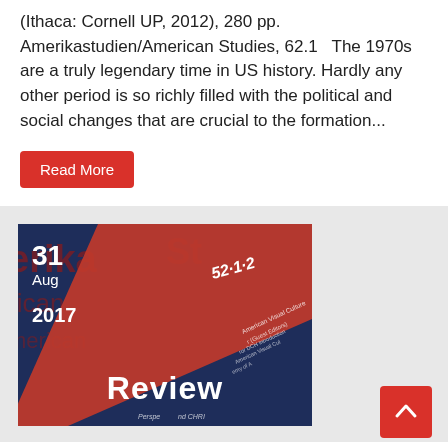(Ithaca: Cornell UP, 2012), 280 pp. Amerikastudien/American Studies, 62.1   The 1970s are a truly legendary time in US history. Hardly any other period is so richly filled with the political and social changes that are crucial to the formation...
Read More
[Figure (photo): Book review cover image for Amerikastudien/American Studies journal, volume 52.1, showing a diagonal red stripe over a dark navy background with 'Review' text. Date shown: 31 Aug 2017.]
WIELAND SCHWANEBECK, DER FLEXIBLE MR. RIPLEY. MÄNNLICHKEIT UND HOCHSTAPELEI IN LITERATUR UND FILM (KÖLN, WEIMAR, WIEN: